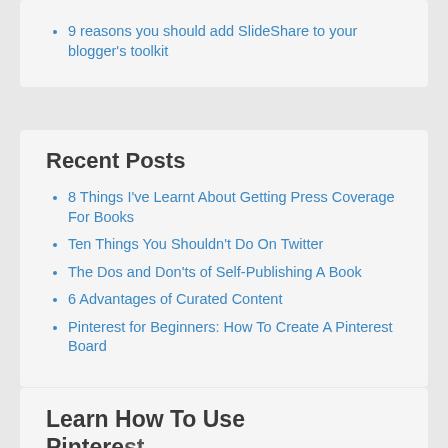9 reasons you should add SlideShare to your blogger's toolkit
Recent Posts
8 Things I've Learnt About Getting Press Coverage For Books
Ten Things You Shouldn't Do On Twitter
The Dos and Don'ts of Self-Publishing A Book
6 Advantages of Curated Content
Pinterest for Beginners: How To Create A Pinterest Board
Learn How To Use Pinterest